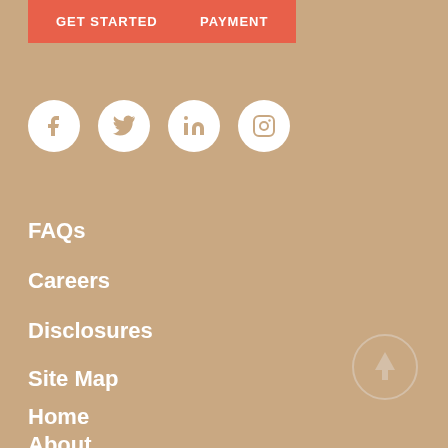GET STARTED
PAYMENT
[Figure (illustration): Row of four white circular social media icons: Facebook, Twitter, LinkedIn, Instagram on tan/beige background]
FAQs
Careers
Disclosures
Site Map
[Figure (illustration): White circle outline with upward arrow (scroll to top button)]
Home
About